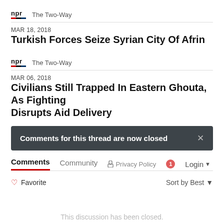npr The Two-Way
MAR 18, 2018
Turkish Forces Seize Syrian City Of Afrin
npr The Two-Way
MAR 06, 2018
Civilians Still Trapped In Eastern Ghouta, As Fighting Disrupts Aid Delivery
Comments for this thread are now closed
Comments  Community  Privacy Policy  1  Login
Favorite  Sort by Best
This discussion has been closed.